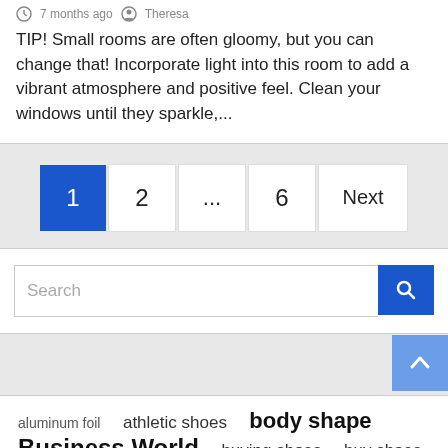7 months ago   Theresa
TIP! Small rooms are often gloomy, but you can change that! Incorporate light into this room to add a vibrant atmosphere and positive feel. Clean your windows until they sparkle,...
1
2
...
6
Next
Search
aluminum foil   athletic shoes   body shape   Business World   buying shoes   buy shoes